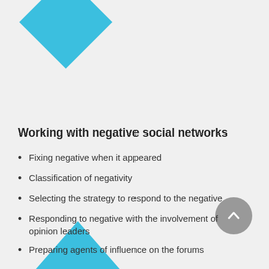[Figure (illustration): Cyan/turquoise diamond shape in the upper left area of the slide]
Working with negative social networks
Fixing negative when it appeared
Classification of negativity
Selecting the strategy to respond to the negative
Responding to negative with the involvement of opinion leaders
Preparing agents of influence on the forums
[Figure (illustration): Cyan/turquoise upward-pointing triangle in the bottom left corner]
[Figure (illustration): Gray circular scroll-to-top button with upward chevron arrow in bottom right]